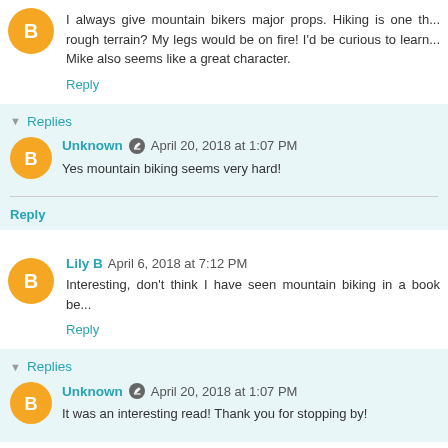[Figure (illustration): Orange blogger avatar circle with B letter]
I always give mountain bikers major props. Hiking is one th... rough terrain? My legs would be on fire! I'd be curious to learn... Mike also seems like a great character.
Reply
Replies
[Figure (illustration): Orange blogger avatar circle with B letter]
Unknown April 20, 2018 at 1:07 PM
Yes mountain biking seems very hard!
Reply
[Figure (illustration): Orange blogger avatar circle with B letter]
Lily B April 6, 2018 at 7:12 PM
Interesting, don't think I have seen mountain biking in a book be...
Reply
Replies
[Figure (illustration): Orange blogger avatar circle with B letter]
Unknown April 20, 2018 at 1:07 PM
It was an interesting read! Thank you for stopping by!